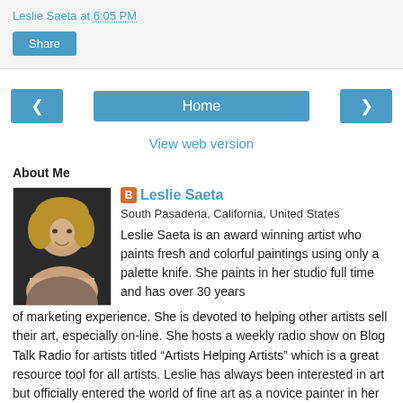Leslie Saeta at 6:05 PM
Share
< Home >
View web version
About Me
Leslie Saeta
South Pasadena, California, United States
Leslie Saeta is an award winning artist who paints fresh and colorful paintings using only a palette knife. She paints in her studio full time and has over 30 years of marketing experience. She is devoted to helping other artists sell their art, especially on-line. She hosts a weekly radio show on Blog Talk Radio for artists titled “Artists Helping Artists” which is a great resource tool for all artists. Leslie has always been interested in art but officially entered the world of fine art as a novice painter in her mid forties. Her art may appear to include energetic brushwork, but
[Figure (photo): Profile photo of Leslie Saeta, a woman with blonde hair smiling]